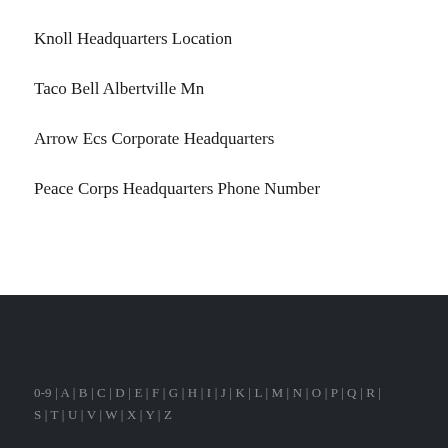Knoll Headquarters Location
Taco Bell Albertville Mn
Arrow Ecs Corporate Headquarters
Peace Corps Headquarters Phone Number
0-9 | A | B | C | D | E | F | G | H | I | J | K | L | M | N | O | P | Q | R | S | T | U | V | W | X | Y | Z